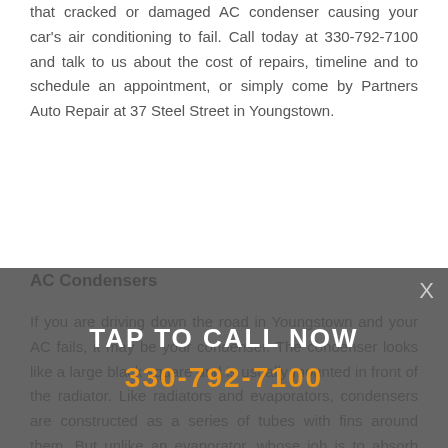that cracked or damaged AC condenser causing your car's air conditioning to fail. Call today at 330-792-7100 and talk to us about the cost of repairs, timeline and to schedule an appointment, or simply come by Partners Auto Repair at 37 Steel Street in Youngstown.
AC Condensers
If you are driving down the road in Youngstown and your AC fails, it may be your condenser. The condenser looks like a large black square and is usually mounted in front of the radiator. Like radiators and evaporators, condensers are constructed as a series of tubes with fins around them. But unlike an evaporator, whose job is to absorb heat, the condenser's job is to release the heat your refrigerant absorbed while it was flowing through the evaporator, very much the same way the radiator releases the heat from engine coolant that it absorbed while it was flowing through the engine. A car's condenser also removes unwanted debris from the cooling system.
[Figure (other): Call-to-action overlay banner with 'TAP TO CALL NOW' in white bold text and phone number '330-792-7100' in orange bold text, on a semi-transparent dark gray background. An X close button is in the upper right.]